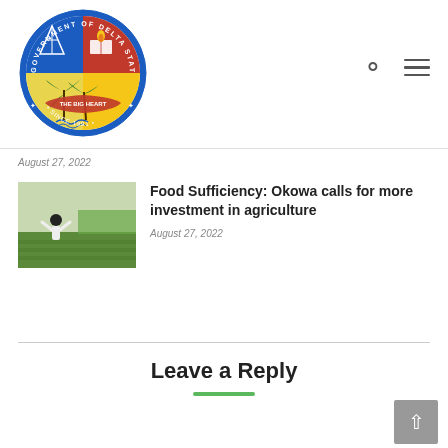[Figure (logo): Government of Delta State Nigeria official seal/logo - circular emblem with blue, red, yellow quadrants, oil derrick, book, flame, and palm trees, with text 'THE BIG HEART' and 'SINCE 1991']
August 27, 2022
Food Sufficiency: Okowa calls for more investment in agriculture
[Figure (photo): A person standing in a field with arms raised, with rows of crops/palm trees visible in the background]
August 27, 2022
Leave a Reply